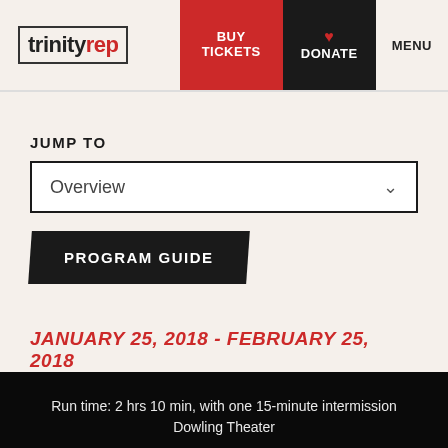trinity rep | BUY TICKETS | DONATE | MENU
JUMP TO
Overview
PROGRAM GUIDE
JANUARY 25, 2018 - FEBRUARY 25, 2018
Run time: 2 hrs 10 min, with one 15-minute intermission
Dowling Theater
SUBSCRIBE NOW